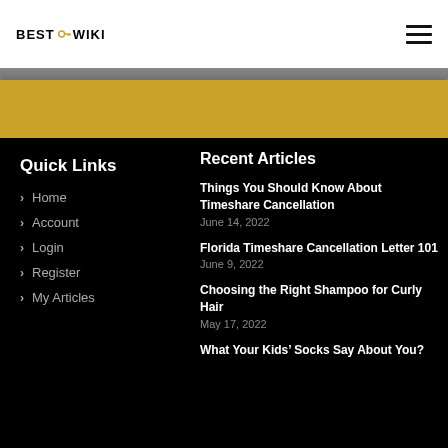BEST OF WIKI
Quick Links
Home
Account
Login
Register
My Articles
Recent Articles
Things You Should Know About Timeshare Cancellation
June 14, 2022
Florida Timeshare Cancellation Letter 101
June 9, 2022
Choosing the Right Shampoo for Curly Hair
May 17, 2022
What Your Kids’ Socks Say About You?